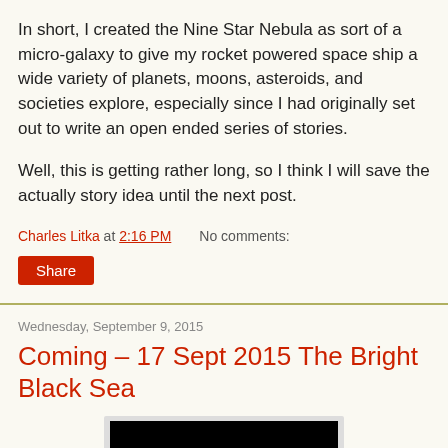In short, I created the Nine Star Nebula as sort of a micro-galaxy to give my rocket powered space ship a wide variety of planets, moons, asteroids, and societies explore, especially since I had originally set out to write an open ended series of stories.
Well, this is getting rather long, so I think I will save the actually story idea until the next post.
Charles Litka at 2:16 PM    No comments:
Share
Wednesday, September 9, 2015
Coming – 17 Sept 2015 The Bright Black Sea
[Figure (photo): Book cover image showing 'The Bright' text in white serif font on a black background]